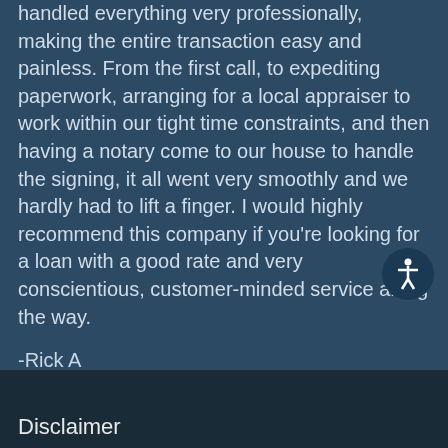handled everything very professionally, making the entire transaction easy and painless. From the first call, to expediting paperwork, arranging for a local appraiser to work within our tight time constraints, and then having a notary come to our house to handle the signing, it all went very smoothly and we hardly had to lift a finger. I would highly recommend this company if you're looking for a loan with a good rate and very conscientious, customer-minded service along the way.
-Rick A
Read More
Disclaimer